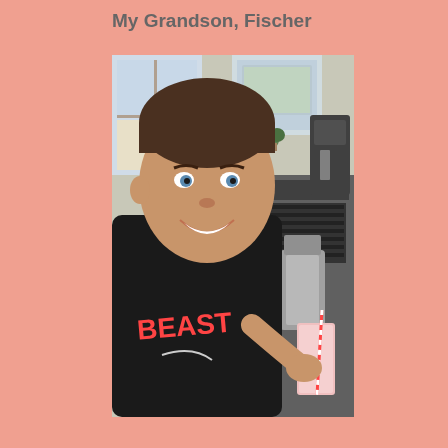My Grandson, Fischer
[Figure (photo): A young boy wearing a black 'BEAST' Nike shirt, smiling at the camera in a kitchen. He is holding a pink smoothie in a glass with a candy cane straw. Behind him is a kitchen counter with a blender, coffee maker, and a stove. There are windows in the background showing a bright outdoor scene.]